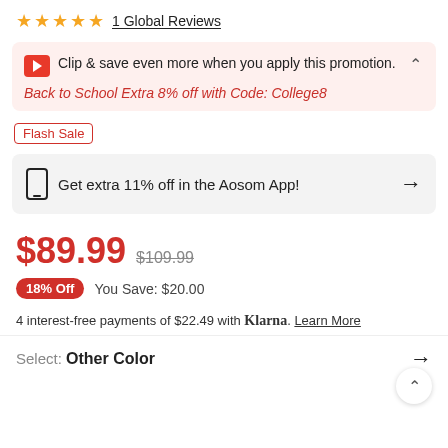★★★★★ 1 Global Reviews
Clip & save even more when you apply this promotion. Back to School Extra 8% off with Code: College8
Flash Sale
Get extra 11% off in the Aosom App!
$89.99  $109.99
18% Off  You Save: $20.00
4 interest-free payments of $22.49 with Klarna. Learn More
Select: Other Color